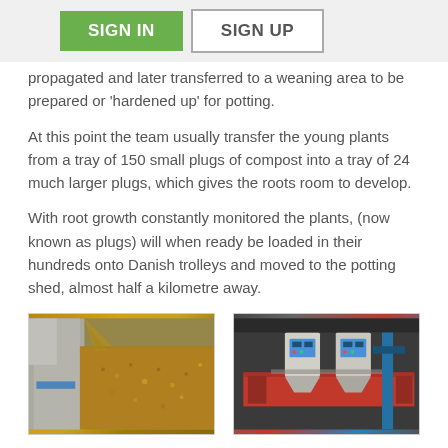SIGN IN | SIGN UP
propagated and later transferred to a weaning area to be prepared or 'hardened up' for potting.
At this point the team usually transfer the young plants from a tray of 150 small plugs of compost into a tray of 24 much larger plugs, which gives the roots room to develop.
With root growth constantly monitored the plants, (now known as plugs) will when ready be loaded in their hundreds onto Danish trolleys and moved to the potting shed, almost half a kilometre away.
[Figure (photo): Close-up photo of grain or compost material being poured or conveyed in a metal trough/container]
[Figure (photo): Industrial machinery in a shed — red conveyor or mixing equipment with blue frame, control panels and hoppers visible]
Like many of the production processes at Palmstead, our potting operations have seen continuous evolution over the